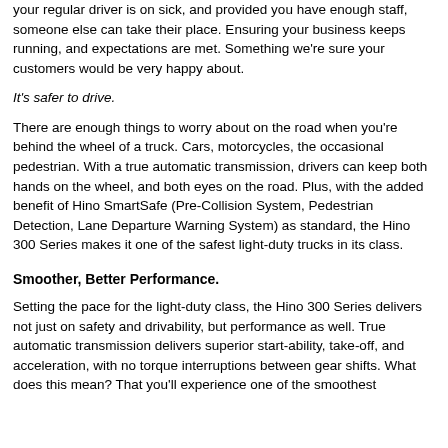your regular driver is on sick, and provided you have enough staff, someone else can take their place. Ensuring your business keeps running, and expectations are met. Something we're sure your customers would be very happy about.
It's safer to drive.
There are enough things to worry about on the road when you're behind the wheel of a truck. Cars, motorcycles, the occasional pedestrian. With a true automatic transmission, drivers can keep both hands on the wheel, and both eyes on the road. Plus, with the added benefit of Hino SmartSafe (Pre-Collision System, Pedestrian Detection, Lane Departure Warning System) as standard, the Hino 300 Series makes it one of the safest light-duty trucks in its class.
Smoother, Better Performance.
Setting the pace for the light-duty class, the Hino 300 Series delivers not just on safety and drivability, but performance as well. True automatic transmission delivers superior start-ability, take-off, and acceleration, with no torque interruptions between gear shifts. What does this mean? That you'll experience one of the smoothest